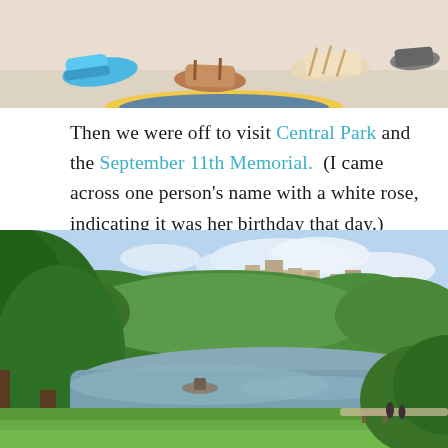[Figure (photo): Partial photo showing feet and shoes of several people standing on a light-colored surface, with part of a colorful disc (frisbee or plate) visible at the bottom.]
Then we were off to visit Central Park and the September 11th Memorial.  (I came across one person's name with a white rose, indicating it was her birthday that day.)
[Figure (photo): Photo of Central Park showing a large lake with lush green trees in the foreground and background, a boat on the water, and tall Manhattan apartment buildings visible above the tree line under a partly cloudy sky.]